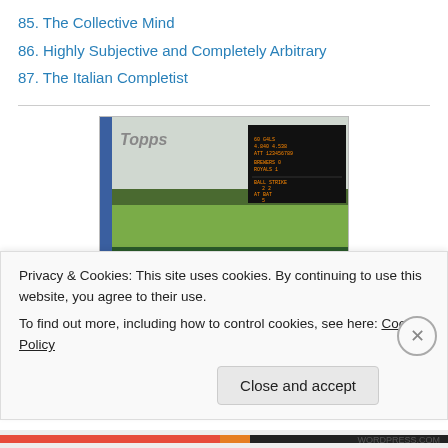85. The Collective Mind
86. Highly Subjective and Completely Arbitrary
87. The Italian Completist
[Figure (photo): A Topps baseball card showing a baseball stadium scene with a scoreboard in the upper right displaying game information (Brewers 0, Royals 1), a '410' marker on the outfield wall, and a batter and catcher in the foreground.]
Privacy & Cookies: This site uses cookies. By continuing to use this website, you agree to their use.
To find out more, including how to control cookies, see here: Cookie Policy
Close and accept